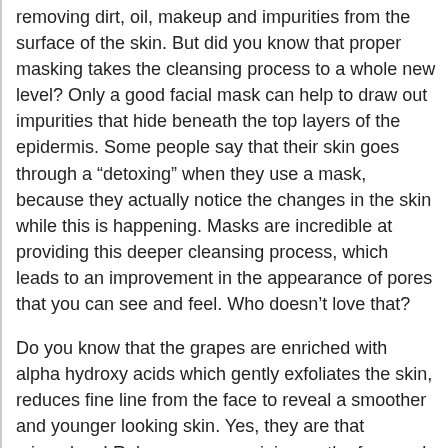removing dirt, oil, makeup and impurities from the surface of the skin. But did you know that proper masking takes the cleansing process to a whole new level? Only a good facial mask can help to draw out impurities that hide beneath the top layers of the epidermis. Some people say that their skin goes through a “detoxing” when they use a mask, because they actually notice the changes in the skin while this is happening. Masks are incredible at providing this deeper cleansing process, which leads to an improvement in the appearance of pores that you can see and feel. Who doesn’t love that?
Do you know that the grapes are enriched with alpha hydroxy acids which gently exfoliates the skin, reduces fine line from the face to reveal a smoother and younger looking skin. Yes, they are that miraculous! Rub some grapes juice on the face and wash for after 20 minutes. It helps in getting a wrinkle free skin for a longer time. Therefore, this makes grapes extremely good natural product to include in your anti aging skin care regimen. Lemons have been used in beauty rituals since ages due to their excellent capabilities to fade spots, make skin fairer and high Vitamin C content. Dark spots and patchy skin is also associated with skin aging. Lemon juice has vitamin C and skin lightening properties, therefore to even tone the